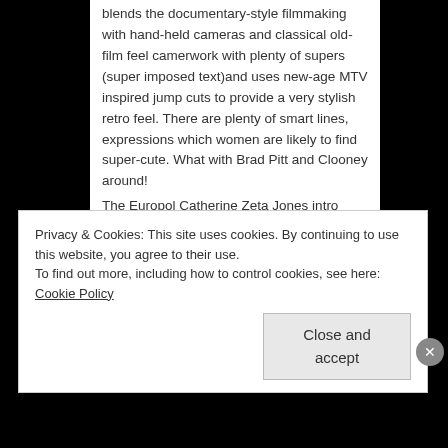blends the documentary-style filmmaking with hand-held cameras and classical old-film feel camerwork with plenty of supers (super imposed text)and uses new-age MTV inspired jump cuts to provide a very stylish retro feel. There are plenty of smart lines, expressions which women are likely to find super-cute. What with Brad Pitt and Clooney around!

The Europol Catherine Zeta Jones intro scene where she talks about the most popular thief Night Fox reminded me of our desi cop flicks where commissioners of all districts sit around to bitch about the most wanted criminal and his past record. I almost saw Captain Vijayakanth rise and say: “Night Faax nari ah irakalaam, ana intha Captain minadi verum ordinary” before he walks away out of the hall in slow motion and
Privacy & Cookies: This site uses cookies. By continuing to use this website, you agree to their use.
To find out more, including how to control cookies, see here: Cookie Policy
Close and accept